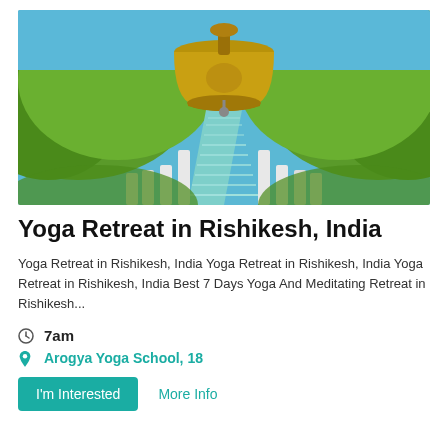[Figure (photo): Outdoor photo showing a large bronze temple bell hanging in the foreground with a long stairway leading into lush green hills in the background under a blue sky]
Yoga Retreat in Rishikesh, India
Yoga Retreat in Rishikesh, India Yoga Retreat in Rishikesh, India Yoga Retreat in Rishikesh, India Best 7 Days Yoga And Meditating Retreat in Rishikesh...
7am
Arogya Yoga School, 18
I'm Interested
More Info